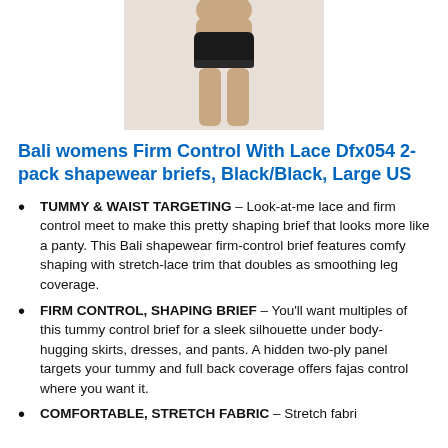[Figure (photo): Cropped photo of a woman wearing black shapewear briefs, showing torso and legs from mid-torso down to upper thigh area]
Bali womens Firm Control With Lace Dfx054 2-pack shapewear briefs, Black/Black, Large US
TUMMY & WAIST TARGETING – Look-at-me lace and firm control meet to make this pretty shaping brief that looks more like a panty. This Bali shapewear firm-control brief features comfy shaping with stretch-lace trim that doubles as smoothing leg coverage.
FIRM CONTROL, SHAPING BRIEF – You'll want multiples of this tummy control brief for a sleek silhouette under body-hugging skirts, dresses, and pants. A hidden two-ply panel targets your tummy and full back coverage offers fajas control where you want it.
COMFORTABLE, STRETCH FABRIC – Stretch fabric...